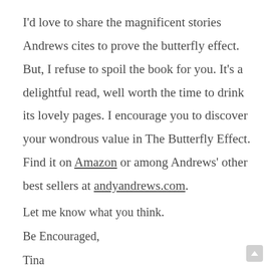I'd love to share the magnificent stories Andrews cites to prove the butterfly effect. But, I refuse to spoil the book for you. It's a delightful read, well worth the time to drink its lovely pages. I encourage you to discover your wondrous value in The Butterfly Effect. Find it on Amazon or among Andrews' other best sellers at andyandrews.com.
Let me know what you think.
Be Encouraged,
Tina